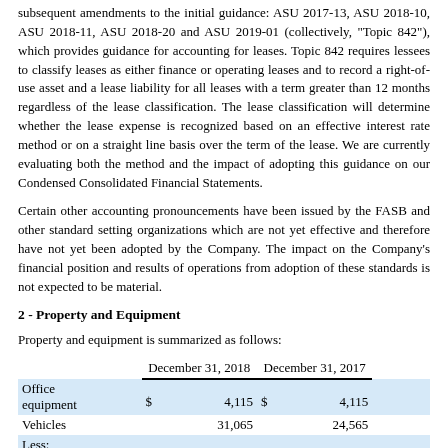subsequent amendments to the initial guidance: ASU 2017-13, ASU 2018-10, ASU 2018-11, ASU 2018-20 and ASU 2019-01 (collectively, "Topic 842"), which provides guidance for accounting for leases. Topic 842 requires lessees to classify leases as either finance or operating leases and to record a right-of-use asset and a lease liability for all leases with a term greater than 12 months regardless of the lease classification. The lease classification will determine whether the lease expense is recognized based on an effective interest rate method or on a straight line basis over the term of the lease. We are currently evaluating both the method and the impact of adopting this guidance on our Condensed Consolidated Financial Statements.
Certain other accounting pronouncements have been issued by the FASB and other standard setting organizations which are not yet effective and therefore have not yet been adopted by the Company. The impact on the Company's financial position and results of operations from adoption of these standards is not expected to be material.
2 - Property and Equipment
Property and equipment is summarized as follows:
|  | December 31, 2018 | December 31, 2017 |
| --- | --- | --- |
| Office equipment | $ 4,115 | $ 4,115 |
| Vehicles | 31,065 | 24,565 |
| Less: Accumulated |  |  |